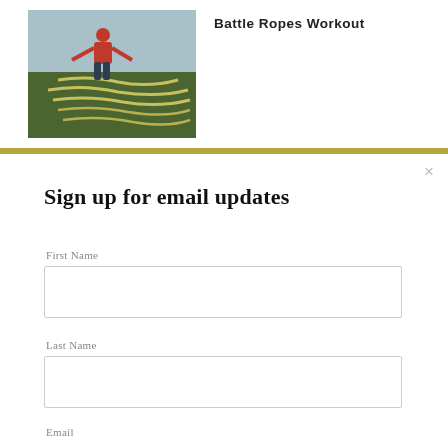[Figure (photo): Person doing battle ropes workout exercise in a gym with green turf floor and ropes on ground]
Battle Ropes Workout
×
Sign up for email updates
First Name
Last Name
Email